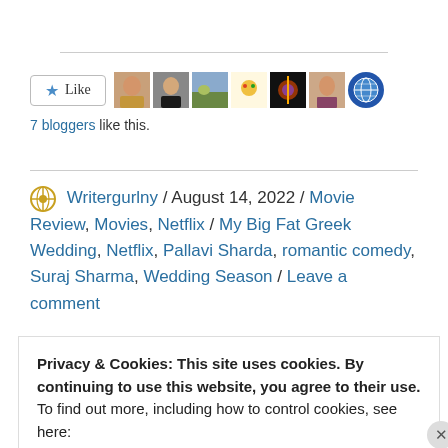[Figure (other): Like button with star icon and 7 blogger avatar photos]
7 bloggers like this.
Writergurlny / August 14, 2022 / Movie Review, Movies, Netflix / My Big Fat Greek Wedding, Netflix, Pallavi Sharda, romantic comedy, Suraj Sharma, Wedding Season / Leave a comment
Privacy & Cookies: This site uses cookies. By continuing to use this website, you agree to their use.
To find out more, including how to control cookies, see here:
Cookie Policy
Close and accept